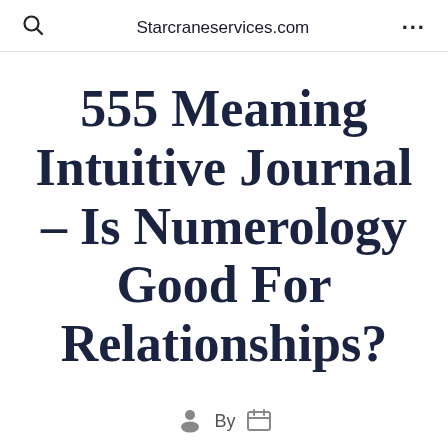Starcraneservices.com
555 Meaning Intuitive Journal – Is Numerology Good For Relationships?
By
If you are a couple as well as are searching for ways